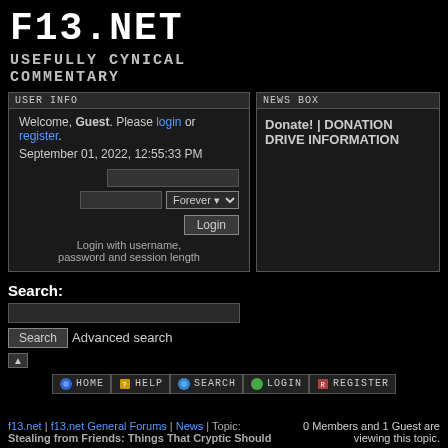f13.net
USEFULLY CYNICAL COMMENTARY
USER INFO
Welcome, Guest. Please login or register. September 01, 2022, 12:55:33 PM
Login with username, password and session length
NEWS BOX
Donate! | DONATION DRIVE INFORMATION
Search:
Search   Advanced search
HOME  HELP  SEARCH  LOGIN  REGISTER
f13.net | f13.net General Forums | News | Topic: Stealing from Friends: Things That Cryptic Should
0 Members and 1 Guest are viewing this topic.